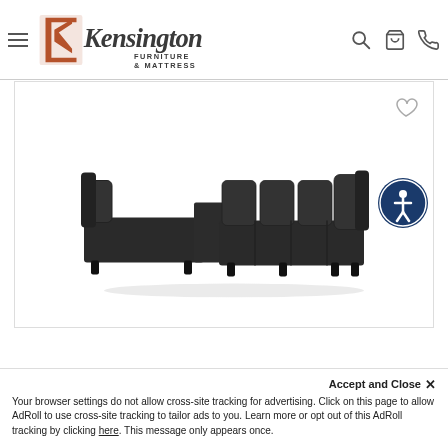Kensington Furniture & Mattress - navigation header with hamburger menu, logo, search, cart, and phone icons
[Figure (photo): Black sectional sofa with chaise lounge on left side, multiple back cushions, rolled arms, on a white background product photo. Heart/wishlist icon in top right corner. Accessibility icon button on right edge.]
Accept and Close ×
Your browser settings do not allow cross-site tracking for advertising. Click on this page to allow AdRoll to use cross-site tracking to tailor ads to you. Learn more or opt out of this AdRoll tracking by clicking here. This message only appears once.